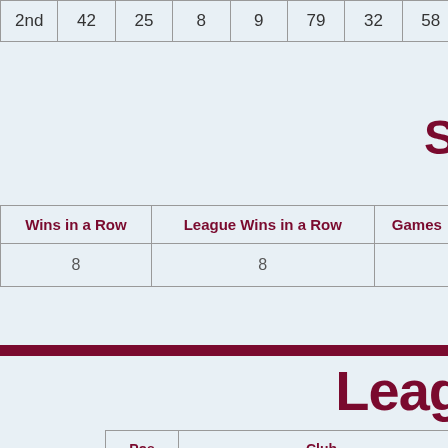| 2nd | 42 | 25 | 8 | 9 | 79 | 32 | 58 |
| --- | --- | --- | --- | --- | --- | --- | --- |
| Wins in a Row | League Wins in a Row | Games |
| --- | --- | --- |
| 8 | 8 |  |
S
Leag
| Pos | Club |
| --- | --- |
| 1 | Manchester United |
| 2 | Aston Villa |
| 3 | Norwich City |
| 4 | Sunderland |